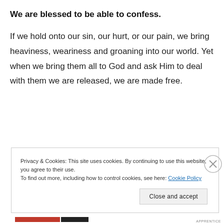We are blessed to be able to confess.
If we hold onto our sin, our hurt, or our pain, we bring heaviness, weariness and groaning into our world. Yet when we bring them all to God and ask Him to deal with them we are released, we are made free.
Privacy & Cookies: This site uses cookies. By continuing to use this website, you agree to their use.
To find out more, including how to control cookies, see here: Cookie Policy
Close and accept